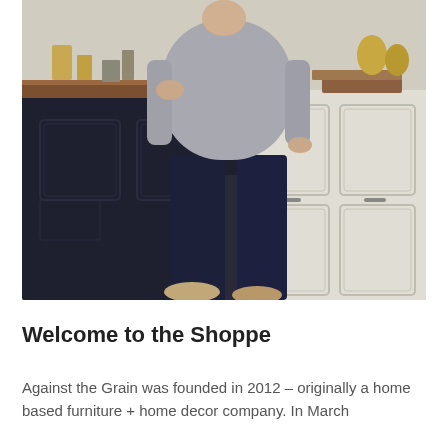[Figure (photo): A person wearing a gray shirt and dark navy pants standing in a furniture/home decor shop, leaning against a dark navy painted cabinet/island with a wood top. On the right side are white distressed cabinets. The floor has a small houndstooth or checkered tile pattern. Various home decor items are visible on the countertops.]
Welcome to the Shoppe
Against the Grain was founded in 2012 – originally a home based furniture + home decor company. In March